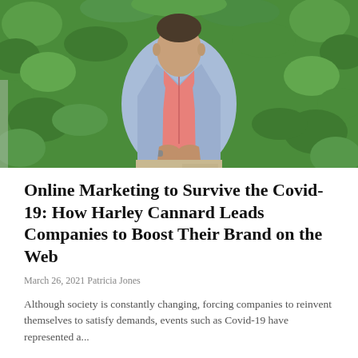[Figure (photo): A man wearing a light blue blazer over a pink shirt, with beige pants, standing in front of a lush green leafy hedge background. He is clasping his hands in front of him.]
Online Marketing to Survive the Covid-19: How Harley Cannard Leads Companies to Boost Their Brand on the Web
March 26, 2021 Patricia Jones
Although society is constantly changing, forcing companies to reinvent themselves to satisfy demands, events such as Covid-19 have represented a...